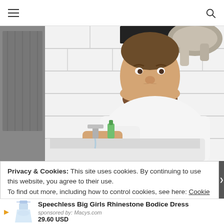Navigation header with hamburger menu and search icon
[Figure (photo): A bearded man in a white long-sleeve shirt washing his hands at a white bathroom sink, smiling at the camera. A cat is visible on his shoulder/behind him. The bathroom has white subway tiles and a grey towel hanging on the left.]
Privacy & Cookies: This site uses cookies. By continuing to use this website, you agree to their use. To find out more, including how to control cookies, see here: Cookie
Speechless Big Girls Rhinestone Bodice Dress
sponsored by: Macys.com
29.60 USD